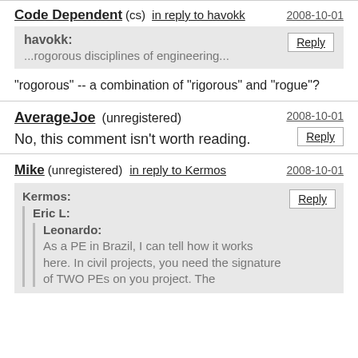Code Dependent (cs) in reply to havokk 2008-10-01
havokk: ...rogorous disciplines of engineering...
"rogorous" -- a combination of "rigorous" and "rogue"?
AverageJoe (unregistered) 2008-10-01
No, this comment isn't worth reading.
Mike (unregistered) in reply to Kermos 2008-10-01
Kermos: Eric L: Leonardo: As a PE in Brazil, I can tell how it works here. In civil projects, you need the signature of TWO PEs on you project. The